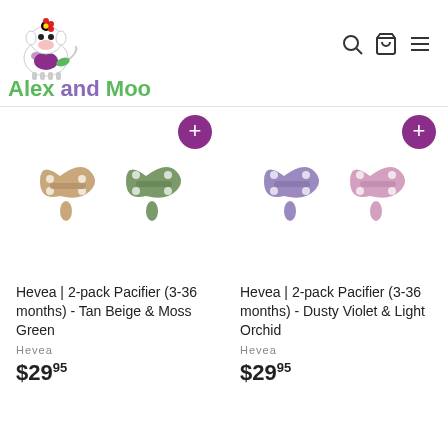[Figure (logo): Alex and Moo store logo with cartoon cow illustration and colorful text]
[Figure (photo): Two pacifiers side by side in Tan Beige and Moss Green colors - Hevea brand 2-pack]
Hevea | 2-pack Pacifier (3-36 months) - Tan Beige & Moss Green
Hevea
$29.95
[Figure (photo): Two pacifiers side by side in Dusty Violet and Light Orchid colors - Hevea brand 2-pack]
Hevea | 2-pack Pacifier (3-36 months) - Dusty Violet & Light Orchid
Hevea
$29.95